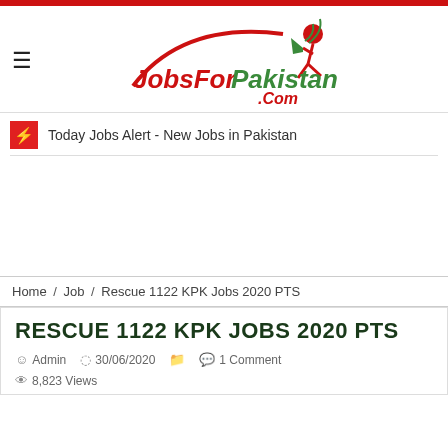[Figure (logo): JobsForPakistan.Com logo with running figure carrying a megaphone]
Today Jobs Alert - New Jobs in Pakistan
Home / Job / Rescue 1122 KPK Jobs 2020 PTS
RESCUE 1122 KPK JOBS 2020 PTS
Admin  30/06/2020   1 Comment  8,823 Views